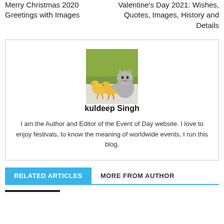Merry Christmas 2020 Greetings with Images
Valentine's Day 2021: Wishes, Quotes, Images, History and Details
[Figure (photo): Photo of two yellow ducklings and a grey kitten on a white surface with green background]
kuldeep Singh
I am the Author and Editor of the Event of Day website. I love to enjoy festivals, to know the meaning of worldwide events, I run this blog.
RELATED ARTICLES
MORE FROM AUTHOR